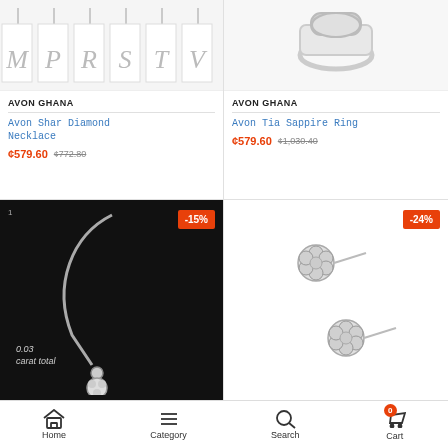[Figure (photo): Letter initial necklace product image strip showing letters M, P, R, S, T, V in cursive on pendants]
AVON GHANA
Avon Shar Diamond Necklace
¢579.60 ¢772.80
[Figure (photo): Silver ring product photo on white background]
AVON GHANA
Avon Tia Sappire Ring
¢579.60 ¢1,030.40
[Figure (photo): Diamond necklace on black background with text 0.03 carat total, discount badge -15%]
[Figure (photo): Silver flower cluster stud earrings on white background, discount badge -24%]
Home  Category  Search  Cart